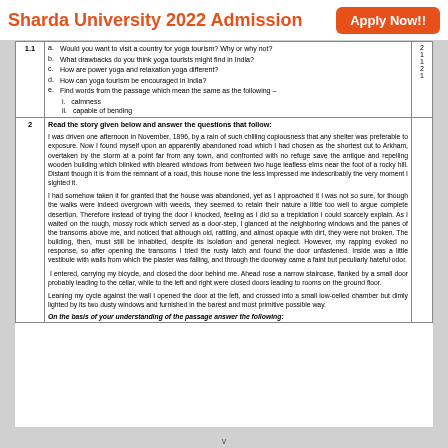Sharda University 2022 Admission   Apply Now!!
| Q.No | Content | Marks |
| --- | --- | --- |
| 1.1 | a. Would you want to visit a country for yoga tourism? Why or why not?
b. What drawbacks do you think yoga tourists might find in India?
c. How are power yoga and relaxation yoga different?
d. How can yoga tourism be encouraged in India?
e. Find words from the passage which mean the same as the following –
   i. calmness
   ii. capable of bending | 2
1
1
2
1 |
| 2 | Read the story given below and answer the questions that follow:

I was driven one afternoon in November, 1896, by a rain of such chilling copiousness that any shelter was preferable to exposure. Now I found myself upon an apparently abandoned road which I had chosen as the shortest cut to Arkham, overtaken by the storm at a point far from any town, and confronted with no refuge save the antique and repelling wooden building which blinked with bleared windows from between two huge leafless elms near the foot of a rocky hill. Distant though it is from the remnant of a road, this house none the less impressed me indescribably the very moment I sighted it.

I had somehow taken it for granted that the house was abandoned, yet as I approached it I was not so sure, for though the walks were indeed overgrown with weeds, they seemed to retain their nature a little too well to argue complete desertion. Therefore instead of trying the door I knocked, feeling as I did so a trepidation I could scarcely explain. As I waited on the rough, mossy rock which served as a door-step, I glanced at the neighboring windows and the panes of the transoms above me, and noticed that although old, rattling, and almost opaque with dirt, they were not broken. The building, then, must still be inhabited, despite its isolation and general neglect. However, my rapping evoked no response, so after opening the transoms I tried the rusty latch and found the door unfastened. Inside was a little vestibule with walls from which the plaster was falling, and through the doorway came a faint but peculiarly hateful odor.

 I entered, carrying my bicycle, and closed the door behind me. Ahead rose a narrow staircase, flanked by a small door probably leading to the cellar, while to the left and right were closed doors leading to rooms on the ground floor.

Leaning my cycle against the wall I opened the door at the left, and crossed into a small low-ceiled chamber but dimly lighted by its two dusty windows and furnished in the barest and most primitive possible way.

On the basis of your understanding of the passage answer the following: |  |
v